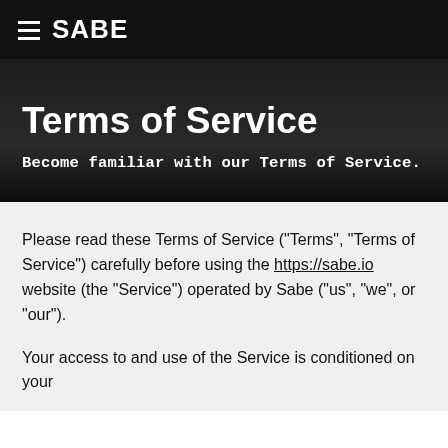SABE
Terms of Service
Become familiar with our Terms of Service.
Please read these Terms of Service ("Terms", "Terms of Service") carefully before using the https://sabe.io website (the "Service") operated by Sabe ("us", "we", or "our").
Your access to and use of the Service is conditioned on your